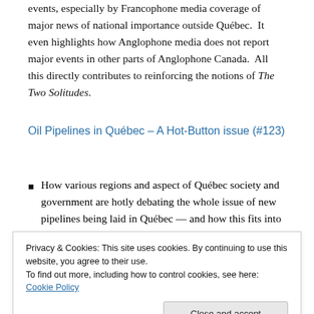events, especially by Francophone media coverage of major news of national importance outside Québec.  It even highlights how Anglophone media does not report major events in other parts of Anglophone Canada.  All this directly contributes to reinforcing the notions of The Two Solitudes.
Oil Pipelines in Québec – A Hot-Button issue (#123)
How various regions and aspect of Québec society and government are hotly debating the whole issue of new pipelines being laid in Québec — and how this fits into
Privacy & Cookies: This site uses cookies. By continuing to use this website, you agree to their use.
To find out more, including how to control cookies, see here: Cookie Policy
Rose defections, and the direction the PC party seems